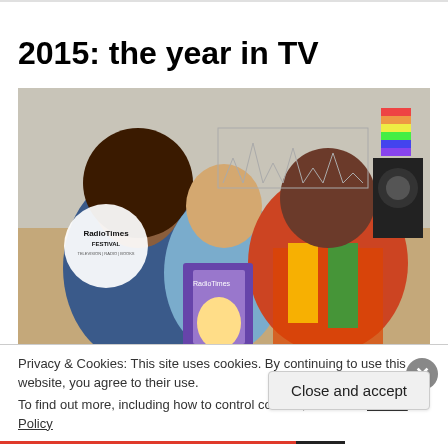2015: the year in TV
[Figure (photo): Three people sitting together smiling, the person in the middle holding Radio Times magazines. A Radio Times Festival logo is visible in the top left corner of the image.]
Privacy & Cookies: This site uses cookies. By continuing to use this website, you agree to their use.
To find out more, including how to control cookies, see here: Cookie Policy
Close and accept